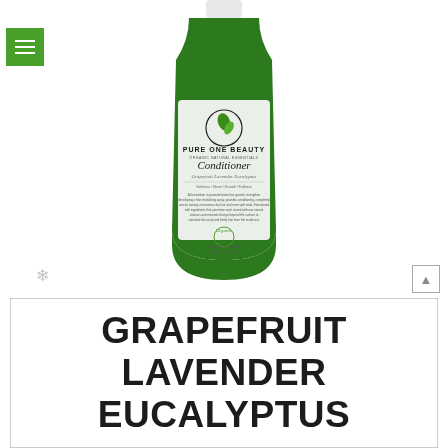[Figure (photo): A green plastic bottle of Pure One Beauty Organic Natural Essentials Conditioner in Grapefruit Lavender Eucalyptus scent, with a white label featuring a hummingbird logo and text about softness, shine, growth, and fullness. The bottle has a white flip-top cap.]
GRAPEFRUIT LAVENDER EUCALYPTUS